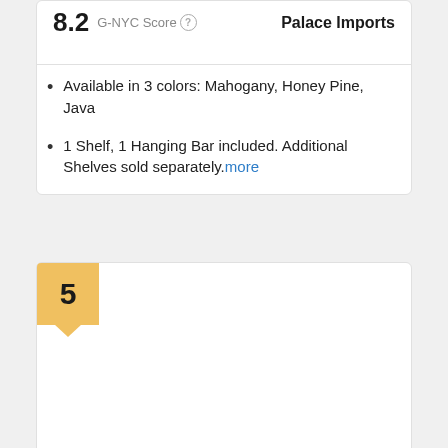8.2 G-NYC Score   Palace Imports
Available in 3 colors: Mahogany, Honey Pine, Java
1 Shelf, 1 Hanging Bar included. Additional Shelves sold separately. more
5